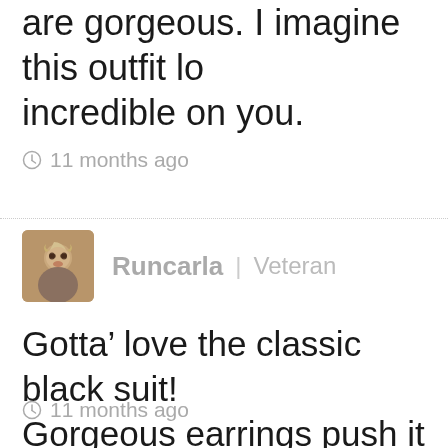are gorgeous. I imagine this outfit lo incredible on you.
11 months ago
Runcarla | Veteran
Gotta’ love the classic black suit! Gorgeous earrings push it up a notc
11 months ago